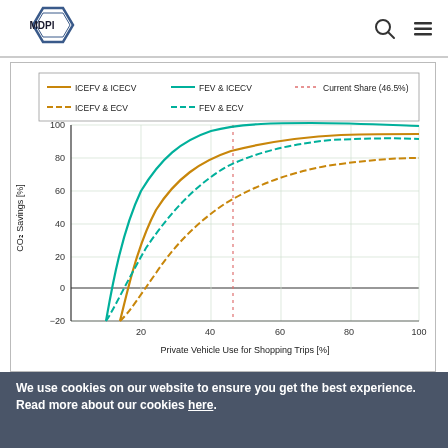MDPI
[Figure (continuous-plot): Line chart showing CO2 Savings [%] vs Private Vehicle Use for Shopping Trips [%]. Four curves: ICEFV & ICECV (solid orange), ICEFV & ECV (dashed orange), FEV & ICECV (solid teal), FEV & ECV (dashed teal). A vertical dotted line marks Current Share at 46.5%. Y-axis ranges from about -20 to 100, X-axis from 0 to 100.]
We use cookies on our website to ensure you get the best experience. Read more about our cookies here.